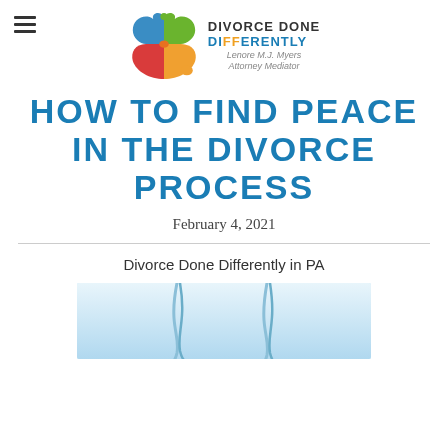[Figure (logo): Divorce Done Differently logo with colorful puzzle-piece heart and text: DIVORCE DONE DIFFERENTLY, Lenore M.J. Myers, Attorney Mediator]
HOW TO FIND PEACE IN THE DIVORCE PROCESS
February 4, 2021
Divorce Done Differently in PA
[Figure (photo): Water splash or drip on a light blue background]